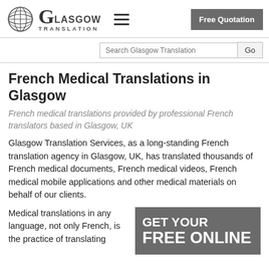[Figure (logo): Glasgow Translation logo with globe icon, large G and text LASGOW TRANSLATION]
Free Quotation
Search Glasgow Translation | Go
French Medical Translations in Glasgow
French medical translations provided by professional French translators based in Glasgow, UK
Glasgow Translation Services, as a long-standing French translation agency in Glasgow, UK, has translated thousands of French medical documents, French medical videos, French medical mobile applications and other medical materials on behalf of our clients.
Medical translations in any language, not only French, is the practice of translating
[Figure (infographic): Dark grey call-to-action box reading GET YOUR FREE ONLINE in large bold white text]